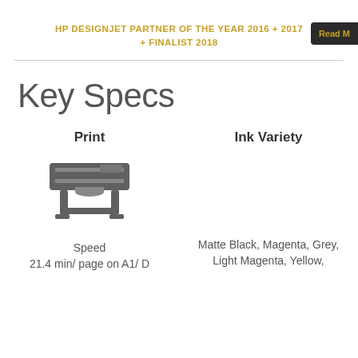HP DESIGNJET PARTNER OF THE YEAR 2016 + 2017 + FINALIST 2018
Key Specs
Print
Ink Variety
[Figure (illustration): Icon of a large format printer/plotter in grey]
Speed
21.4 min/ page on A1/ D
Matte Black, Magenta, Grey, Light Magenta, Yellow,